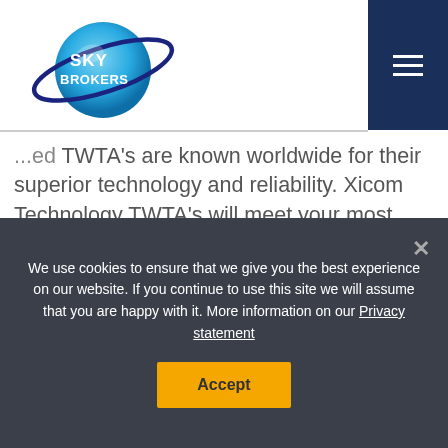[Figure (logo): Sky Brokers logo with globe and orbital ring]
...ed TWTA's are known worldwide for their superior technology and reliability. Xicom Technology TWTA's will meet your most demanding requirements for size, weight, efficiency and reliability. They are the ideal choice for fixed-site, SNG and flyaway applications.
Xicom's new LCD touch screen control front
We use cookies to ensure that we give you the best experience on our website. If you continue to use this site we will assume that you are happy with it. More information on our Privacy statement
Accept